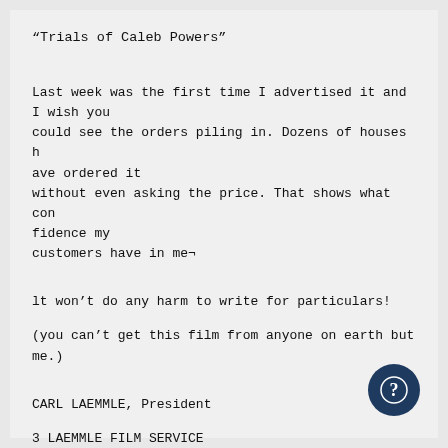“Trials of Caleb Powers”
Last week was the first time I advertised it and I wish you could see the orders piling in. Dozens of houses have ordered it without even asking the price. That shows what confidence my customers have in me¬
lt won’t do any harm to write for particulars!
(you can’t get this film from anyone on earth but me.)
CARL LAEMMLE, President
3 LAEMMLE FILM SERVICE